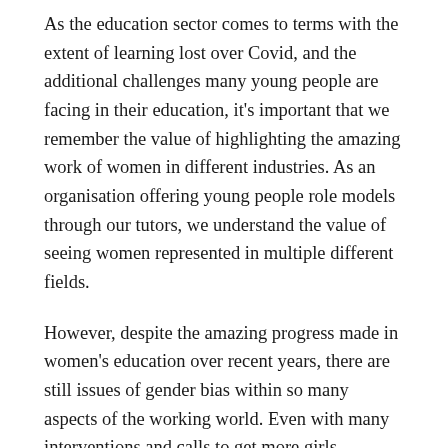As the education sector comes to terms with the extent of learning lost over Covid, and the additional challenges many young people are facing in their education, it's important that we remember the value of highlighting the amazing work of women in different industries. As an organisation offering young people role models through our tutors, we understand the value of seeing women represented in multiple different fields.
However, despite the amazing progress made in women's education over recent years, there are still issues of gender bias within so many aspects of the working world. Even with many interventions and calls to get more girls interested in studying Science, Technology, Engineering and Maths, women still make up only 14% of all people working in STEM in the UK. In the world of sport, whilst women make up roughly 40% of all professional athletes worldwide, they receive only 4% of coverage from sports